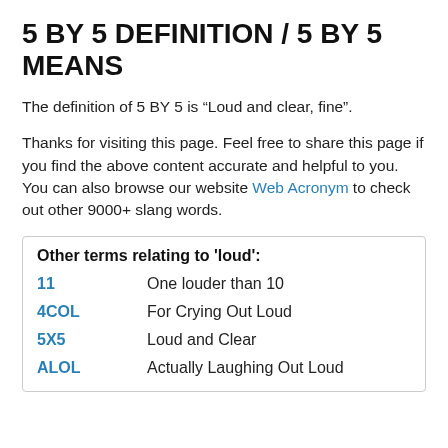5 BY 5 DEFINITION / 5 BY 5 MEANS
The definition of 5 BY 5 is “Loud and clear, fine”.
Thanks for visiting this page. Feel free to share this page if you find the above content accurate and helpful to you. You can also browse our website Web Acronym to check out other 9000+ slang words.
Other terms relating to 'loud':
11 — One louder than 10
4COL — For Crying Out Loud
5X5 — Loud and Clear
ALOL — Actually Laughing Out Loud